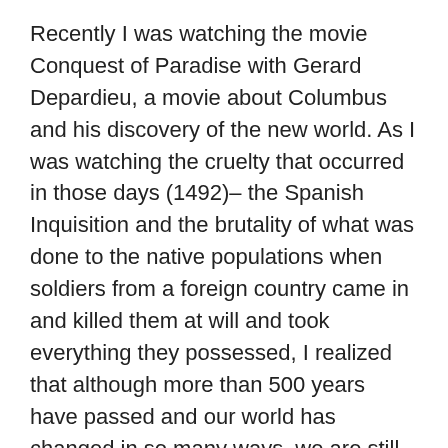Recently I was watching the movie Conquest of Paradise with Gerard Depardieu, a movie about Columbus and his discovery of the new world. As I was watching the cruelty that occurred in those days (1492)– the Spanish Inquisition and the brutality of what was done to the native populations when soldiers from a foreign country came in and killed them at will and took everything they possessed, I realized that although more than 500 years have passed and our world has changed in so many ways, we are still killing each other at the same pace and for the same reasons as we did so many hundreds of years ago.
Why, when the world has become so modern with the invention of cars, planes, new medical techniques our enhanced communication through the internet and so much new knowledge about psychology and the better understanding of the subconscious motivations and drives of human beings, why then are we still functioning